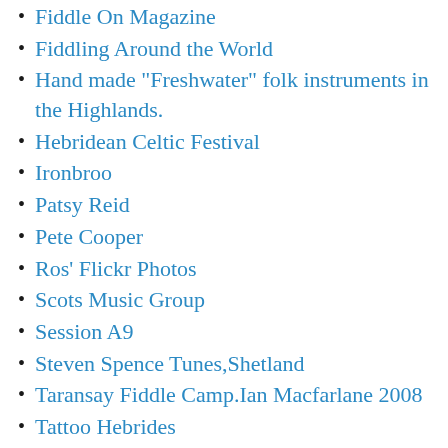Fiddle On Magazine
Fiddling Around the World
Hand made "Freshwater" folk instruments in the Highlands.
Hebridean Celtic Festival
Ironbroo
Patsy Reid
Pete Cooper
Ros' Flickr Photos
Scots Music Group
Session A9
Steven Spence Tunes,Shetland
Taransay Fiddle Camp.Ian Macfarlane 2008
Tattoo Hebrides
Teine